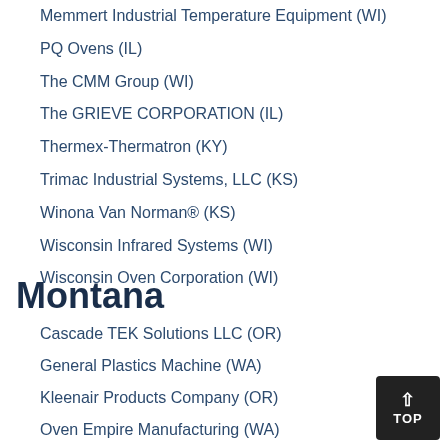Memmert Industrial Temperature Equipment (WI)
PQ Ovens (IL)
The CMM Group (WI)
The GRIEVE CORPORATION (IL)
Thermex-Thermatron (KY)
Trimac Industrial Systems, LLC (KS)
Winona Van Norman® (KS)
Wisconsin Infrared Systems (WI)
Wisconsin Oven Corporation (WI)
Montana
Cascade TEK Solutions LLC (OR)
General Plastics Machine (WA)
Kleenair Products Company (OR)
Oven Empire Manufacturing (WA)